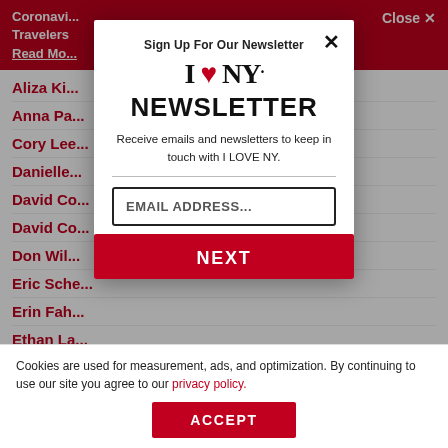[Figure (screenshot): Background website with red header bar showing 'Coronavirus Travelers' and 'Read More' link, and a list of red hyperlinks: Aliza Kib, Anna Pa, Cory Lee, Danielle, David Co, David Co, Don Wil, Eric Sche, Erin Fah, Ethan La, Gavin La. A 'Close X' button in top right.]
Sign Up For Our Newsletter
[Figure (logo): I Love NY logo: 'I' heart 'NY.' in large black serif text with red heart]
NEWSLETTER
Receive emails and newsletters to keep in touch with I LOVE NY.
EMAIL ADDRESS...
NEXT
Cookies are used for measurement, ads, and optimization. By continuing to use our site you agree to our privacy policy.
ACCEPT